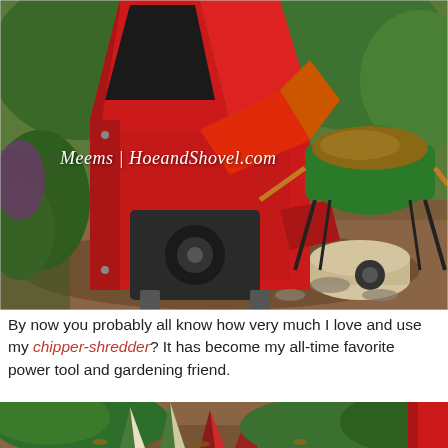[Figure (photo): Red chipper-shredder machine in a garden setting with a green wheelbarrow full of wood chips in the background, surrounded by trees and plants. Watermark text reads: Meems | HoeandShovel.com]
By now you probably all know how very much I love and use my chipper-shredder? It has become my all-time favorite power tool and gardening friend.
[Figure (photo): Close-up of garden plants including tropical foliage with mulch on the ground, partial view of a red chipper-shredder on the right edge.]